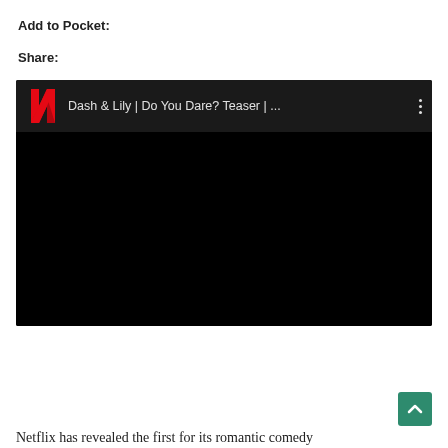Add to Pocket:
Share:
[Figure (screenshot): Embedded YouTube/Netflix video player showing 'Dash & Lily | Do You Dare? Teaser | ...' with Netflix logo (red N) in the top bar, black video body, and three-dot menu icon.]
Netflix has revealed the first for its romantic comedy